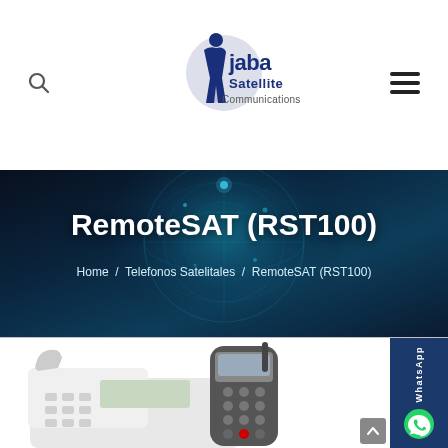[Figure (logo): Jaba Satellite Communications logo — stylized blue figure with globe, text 'jaba Satellite Communications']
RemoteSAT (RST100)
Home / Telefonos Satelitales / RemoteSAT (RST100)
[Figure (photo): Product photo showing a white desk phone and a grey satellite handset phone]
[Figure (other): WhatsApp contact sidebar button]